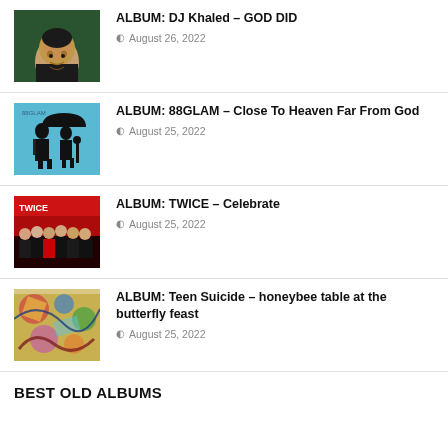[Figure (photo): Album cover for DJ Khaled – GOD DID, person looking upward]
ALBUM: DJ Khaled – GOD DID
August 26, 2022
[Figure (photo): Album cover for 88GLAM – Close To Heaven Far From God, silhouettes with umbrella on teal background]
ALBUM: 88GLAM – Close To Heaven Far From God
August 25, 2022
[Figure (photo): Album cover for TWICE – Celebrate, group photo with red and black tones]
ALBUM: TWICE – Celebrate
August 25, 2022
[Figure (photo): Album cover for Teen Suicide – honeybee table at the butterfly feast, abstract colorful art]
ALBUM: Teen Suicide – honeybee table at the butterfly feast
August 25, 2022
BEST OLD ALBUMS